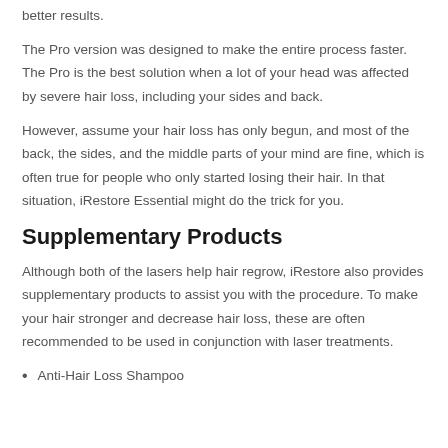better results.
The Pro version was designed to make the entire process faster. The Pro is the best solution when a lot of your head was affected by severe hair loss, including your sides and back.
However, assume your hair loss has only begun, and most of the back, the sides, and the middle parts of your mind are fine, which is often true for people who only started losing their hair. In that situation, iRestore Essential might do the trick for you.
Supplementary Products
Although both of the lasers help hair regrow, iRestore also provides supplementary products to assist you with the procedure. To make your hair stronger and decrease hair loss, these are often recommended to be used in conjunction with laser treatments.
Anti-Hair Loss Shampoo